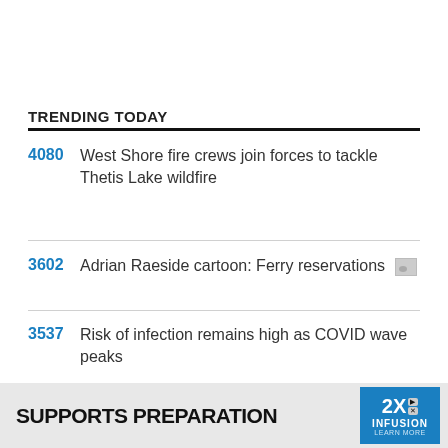TRENDING TODAY
4080 West Shore fire crews join forces to tackle Thetis Lake wildfire
3602 Adrian Raeside cartoon: Ferry reservations
3537 Risk of infection remains high as COVID wave peaks
3270 North Saanich looks at options for pickleball enforcement
[Figure (screenshot): Advertisement banner: SUPPORTS PREPARATION with 2X Infusion logo]